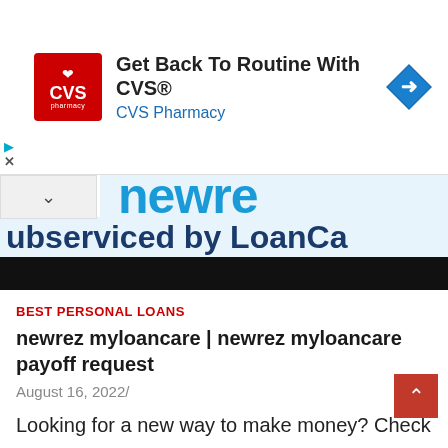[Figure (screenshot): CVS Pharmacy advertisement banner with logo, title 'Get Back To Routine With CVS®', subtitle 'CVS Pharmacy', and navigation arrow icon]
[Figure (screenshot): Banner image showing partial newrez myloancare logo text in blue and the text 'ubserviced by LoanCa' in dark blue, with a black bar at the bottom]
BEST PERSONAL LOANS
newrez myloancare | newrez myloancare payoff request
August 16, 2022/
Looking for a new way to make money? Check out newrez myloancare! This online business opportunity allows you to earn money from home by writing short, easy-to-read content pieces on…